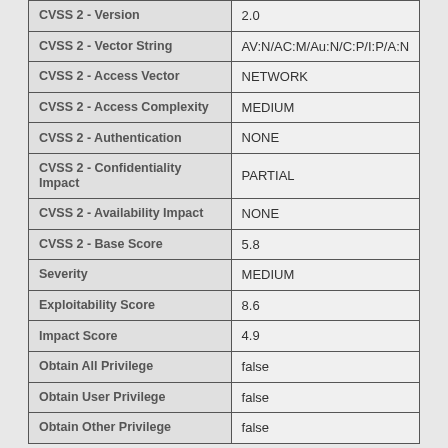| Property | Value |
| --- | --- |
| CVSS 2 - Version | 2.0 |
| CVSS 2 - Vector String | AV:N/AC:M/Au:N/C:P/I:P/A:N |
| CVSS 2 - Access Vector | NETWORK |
| CVSS 2 - Access Complexity | MEDIUM |
| CVSS 2 - Authentication | NONE |
| CVSS 2 - Confidentiality Impact | PARTIAL |
| CVSS 2 - Availability Impact | NONE |
| CVSS 2 - Base Score | 5.8 |
| Severity | MEDIUM |
| Exploitability Score | 8.6 |
| Impact Score | 4.9 |
| Obtain All Privilege | false |
| Obtain User Privilege | false |
| Obtain Other Privilege | false |